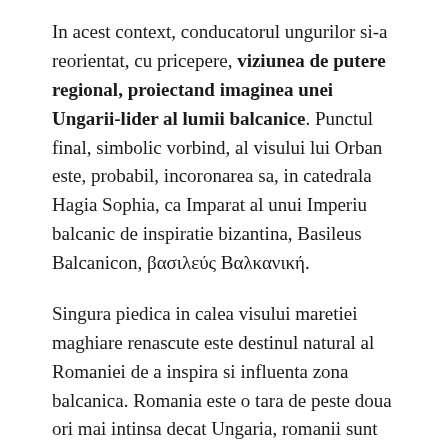In acest context, conducatorul ungurilor si-a reorientat, cu pricepere, viziunea de putere regional, proiectand imaginea unei Ungarii-lider al lumii balcanice. Punctul final, simbolic vorbind, al visului lui Orban este, probabil, incoronarea sa, in catedrala Hagia Sophia, ca Imparat al unui Imperiu balcanic de inspiratie bizantina, Basileus Balcanicon, βασιλεύς Βαλκανική.
Singura piedica in calea visului maretiei maghiare renascute este destinul natural al Romaniei de a inspira si influenta zona balcanica. Romania este o tara de peste doua ori mai intinsa decat Ungaria, romanii sunt de doua ori mai numerosi, iar economia noastra o intrece binisor pe cea maghiara, cu